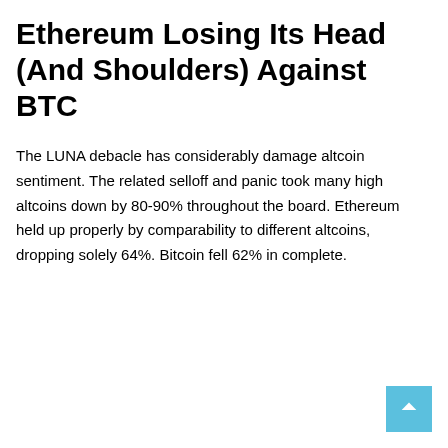Ethereum Losing Its Head (And Shoulders) Against BTC
The LUNA debacle has considerably damage altcoin sentiment. The related selloff and panic took many high altcoins down by 80-90% throughout the board. Ethereum held up properly by comparability to different altcoins, dropping solely 64%. Bitcoin fell 62% in complete.